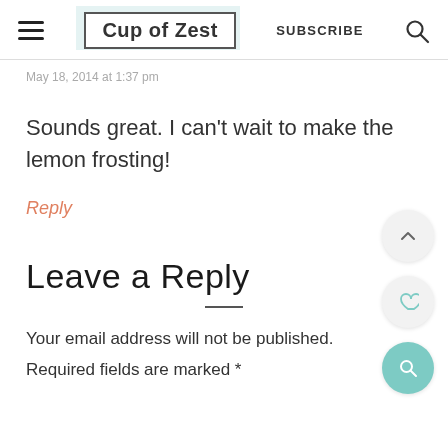Cup of Zest | SUBSCRIBE
May 18, 2014 at 1:37 pm
Sounds great. I can't wait to make the lemon frosting!
Reply
Leave a Reply
Your email address will not be published. Required fields are marked *